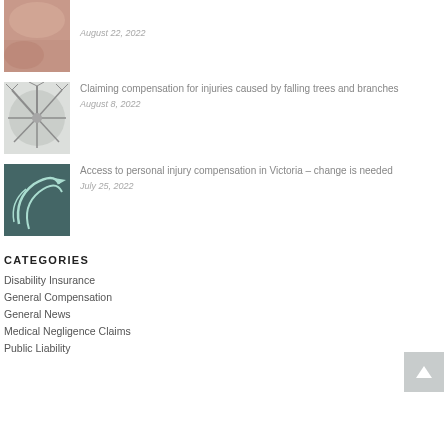[Figure (photo): Close-up photo of skin/shoulder with warm sandy/peach tones, partially visible at top]
August 22, 2022
[Figure (photo): Black and white photo of bare tree branches viewed from below looking up]
Claiming compensation for injuries caused by falling trees and branches
August 8, 2022
[Figure (photo): Dark teal/green image with white arrow outlines forming curved arrows]
Access to personal injury compensation in Victoria – change is needed
July 25, 2022
CATEGORIES
Disability Insurance
General Compensation
General News
Medical Negligence Claims
Public Liability